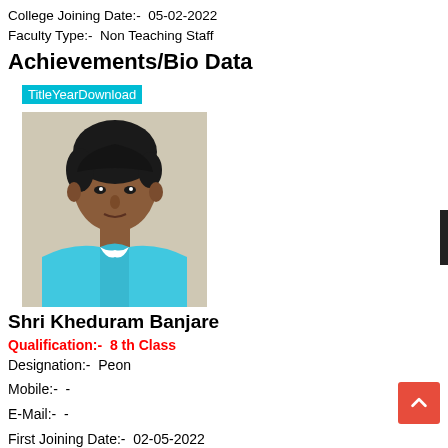College Joining Date:-  05-02-2022
Faculty Type:-  Non Teaching Staff
Achievements/Bio Data
TitleYearDownload
[Figure (photo): Portrait photo of Shri Kheduram Banjare, a man wearing a light blue/cyan shirt, looking slightly to the right, against a beige background.]
Shri Kheduram Banjare
Qualification:-  8 th Class
Designation:-  Peon
Mobile:-  -
E-Mail:-  -
First Joining Date:-  02-05-2022
College Joining Date:-  05-02-2022